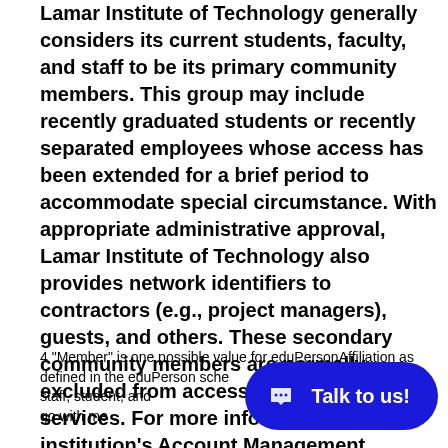Lamar Institute of Technology generally considers its current students, faculty, and staff to be its primary community members. This group may include recently graduated students or recently separated employees whose access has been extended for a brief period to accommodate special circumstance. With appropriate administrative approval, Lamar Institute of Technology also provides network identifiers to contractors (e.g., project managers), guests, and others. These secondary community members are normally excluded from access to federated services. For more information see the institution's Account Management policyathttp://www.lit.edu/depts/TechService/policy705.a
4 "Member" is one possible value for eduPersonAffiliation as defined in the eduPerson schema. Other values include faculty, staff, student, and others. There is a basic set of privileges that go with membership in the